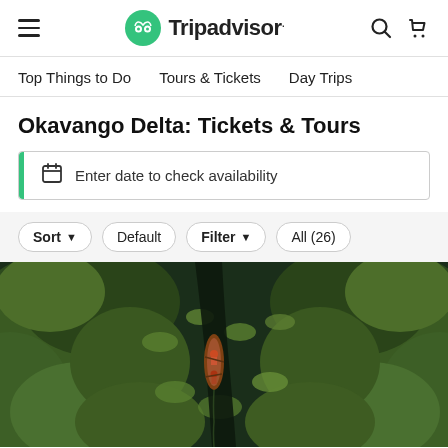Tripadvisor navigation header with hamburger menu, Tripadvisor logo, search and cart icons
Top Things to Do   Tours & Tickets   Day Trips
Okavango Delta: Tickets & Tours
Enter date to check availability
Sort  Default   Filter  All (26)
[Figure (photo): Aerial view of a boat navigating a narrow waterway through dense green vegetation in the Okavango Delta]